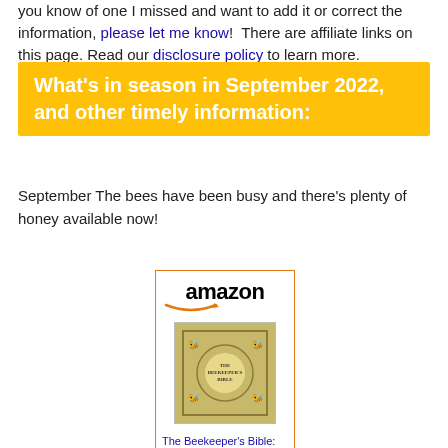you know of one I missed and want to add it or correct the information, please let me know!  There are affiliate links on this page. Read our disclosure policy to learn more.
What's in season in September 2022, and other timely information:
September The bees have been busy and there's plenty of honey available now!
[Figure (other): Amazon affiliate product listing for 'The Beekeeper's Bible: Bees,...' priced at $30.99 with Prime badge and Shop now button.]